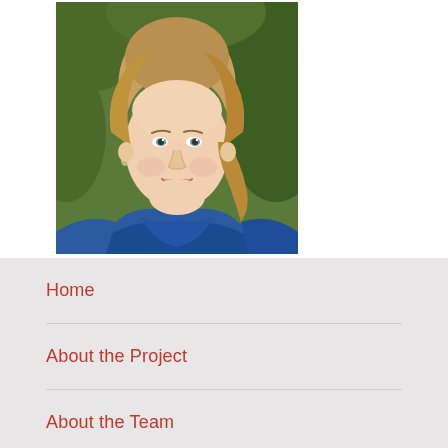[Figure (photo): Professional headshot of a smiling woman with shoulder-length blonde hair wearing a blue top, photographed outdoors with green foliage in the background.]
Home
About the Project
About the Team